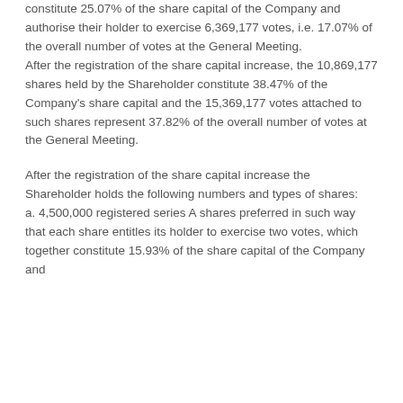constitute 25.07% of the share capital of the Company and authorise their holder to exercise 6,369,177 votes, i.e. 17.07% of the overall number of votes at the General Meeting. After the registration of the share capital increase, the 10,869,177 shares held by the Shareholder constitute 38.47% of the Company's share capital and the 15,369,177 votes attached to such shares represent 37.82% of the overall number of votes at the General Meeting.
After the registration of the share capital increase the Shareholder holds the following numbers and types of shares:
a. 4,500,000 registered series A shares preferred in such way that each share entitles its holder to exercise two votes, which together constitute 15.93% of the share capital of the Company and